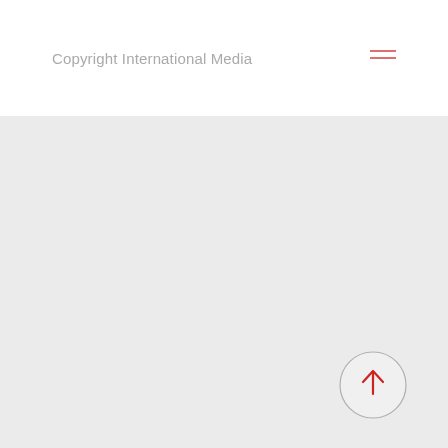Copyright International Media
[Figure (other): Gray background area filling the lower portion of the page with a circular back-to-top button (red upward arrow inside a light gray circle) in the bottom-right corner.]